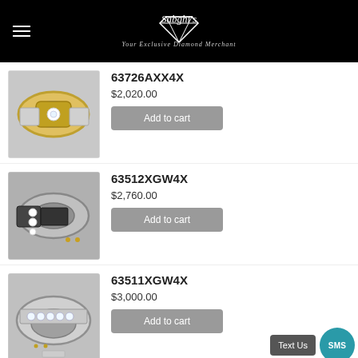Sabghi's — Your Exclusive Diamond Merchant
63726AXX4X
$2,020.00
[Figure (photo): Gold and silver diamond ring]
63512XGW4X
$2,760.00
[Figure (photo): Silver ring with black carbon fiber and three diamonds]
63511XGW4X
$3,000.00
[Figure (photo): Silver channel-set diamond ring]